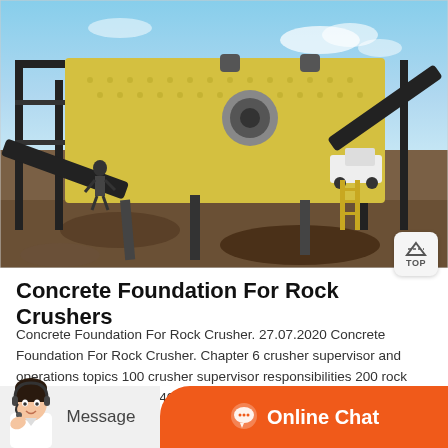[Figure (photo): Outdoor industrial rock crusher/screening plant setup with large yellow vibrating screen mounted on metal frame, conveyor belts, a person standing nearby, a white truck in background, desert landscape and blue sky.]
Concrete Foundation For Rock Crushers
Concrete Foundation For Rock Crusher. 27.07.2020 Concrete Foundation For Rock Crusher. Chapter 6 crusher supervisor and operations topics 100 crusher supervisor responsibilities 200 rock crusher 300 wash plant 400 plant layout to hear audio click on the overview seabees operate under many different circumstances